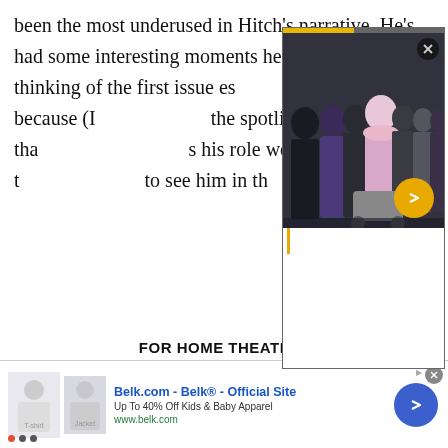been the most underused in Hitch's narrative. He's had some interesting moments here and there (I'm thinking of the first issue es... t with because (I... the spotlight tha... s his role well in t... to see him in th...
[Figure (screenshot): Video player overlay showing a group of people in formal winter coats standing together, with a progress bar at top, close (X) button, orange arrow play button, and vertical orange bar indicator. Lower portion is white/blank.]
FOR HOME THEATER"
[Figure (screenshot): Advertisement banner for Belk.com - Belk® - Official Site. 'Up To 40% Off Kids & Baby Apparel'. URL: www.belk.com. Shows two clothing product thumbnails on the left and a blue circular arrow button on the right. Has close X button and ad label arrow. Dots indicator at bottom left.]